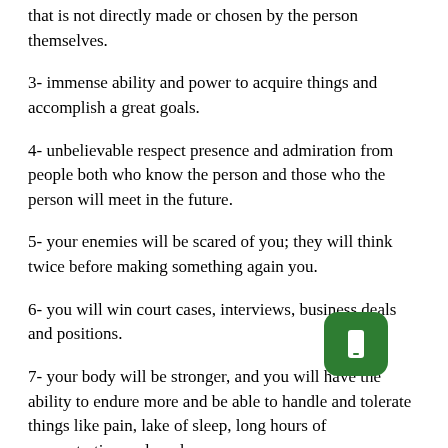that is not directly made or chosen by the person themselves.
3- immense ability and power to acquire things and accomplish a great goals.
4- unbelievable respect presence and admiration from people both who know the person and those who the person will meet in the future.
5- your enemies will be scared of you; they will think twice before making something again you.
6- you will win court cases, interviews, business deals and positions.
7- your body will be stronger, and you will have the ability to endure more and be able to handle and tolerate things like pain, lake of sleep, long hours of concentration and work.
8- those who love you and work for you will [icon] to you and they will be attracted to you and attached in a way that makes your inner circle or workers very efficient and loyal.